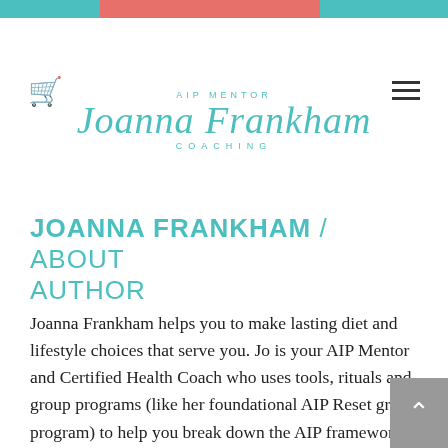AIP MENTOR Joanna Frankham COACHING
JOANNA FRANKHAM / ABOUT AUTHOR
Joanna Frankham helps you to make lasting diet and lifestyle choices that serve you. Jo is your AIP Mentor and Certified Health Coach who uses tools, rituals and group programs (like her foundational AIP Reset group program) to help you break down the AIP framework into manageable pieces; all to enable you to implement positive changes to improve your health. Jo's special sauce is her ability to facilitate bringing AIPers together in a way that is informed, inclusive and encouraging. Chronic illness doesn't have to be